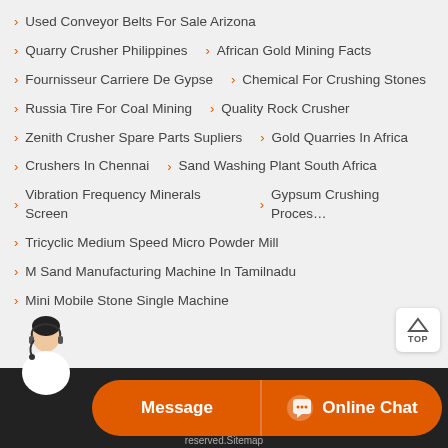Used Conveyor Belts For Sale Arizona
Quarry Crusher Philippines  |  African Gold Mining Facts
Fournisseur Carriere De Gypse  |  Chemical For Crushing Stones
Russia Tire For Coal Mining  |  Quality Rock Crusher
Zenith Crusher Spare Parts Supliers  |  Gold Quarries In Africa
Crushers In Chennai  |  Sand Washing Plant South Africa
Vibration Frequency Minerals Screen  |  Gypsum Crushing Process
Tricyclic Medium Speed Micro Powder Mill
M Sand Manufacturing Machine In Tamilnadu
Mini Mobile Stone Single Machine
Message   Online Chat   reserved.Sitemap